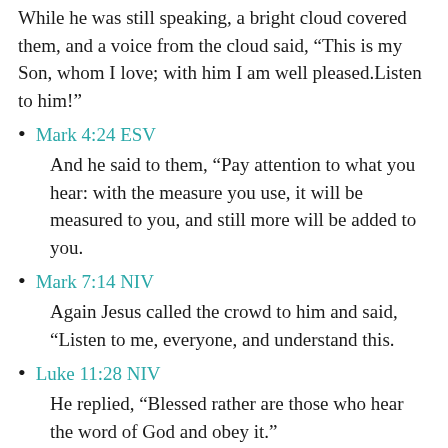While he was still speaking, a bright cloud covered them, and a voice from the cloud said, “This is my Son, whom I love; with him I am well pleased.Listen to him!”
Mark 4:24 ESV
And he said to them, “Pay attention to what you hear: with the measure you use, it will be measured to you, and still more will be added to you.
Mark 7:14 NIV
Again Jesus called the crowd to him and said, “Listen to me, everyone, and understand this.
Luke 11:28 NIV
He replied, “Blessed rather are those who hear the word of God and obey it.”
John 10:27 NIV
My sheep listen to my voice; I know them, and they follow me.
James 1:19 NIV